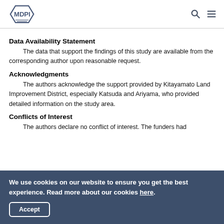MDPI
Data Availability Statement
The data that support the findings of this study are available from the corresponding author upon reasonable request.
Acknowledgments
The authors acknowledge the support provided by Kitayamato Land Improvement District, especially Katsuda and Ariyama, who provided detailed information on the study area.
Conflicts of Interest
The authors declare no conflict of interest. The funders had
We use cookies on our website to ensure you get the best experience. Read more about our cookies here.
Accept